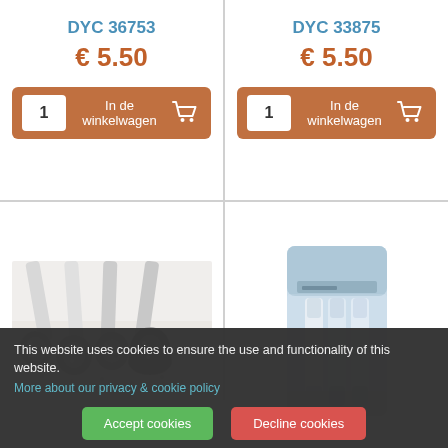DYC 36753
€ 5.50
1  In de winkelwagen
DYC 33875
€ 5.50
1  In de winkelwagen
[Figure (photo): Glitter brush set with silver glitter, multiple brushes shown on white background]
[Figure (photo): Packaged nail/craft tools in light blue blister pack]
This website uses cookies to ensure the use and functionality of this website.
More about our privacy & cookie policy
Accept cookies
Decline cookies